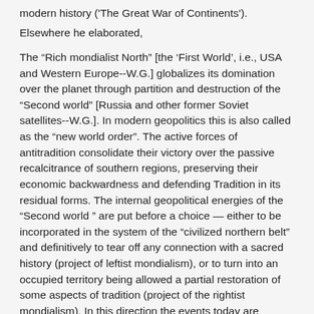modern history ('The Great War of Continents').
Elsewhere he elaborated,
The “Rich mondialist North” [the ‘First World’, i.e., USA and Western Europe--W.G.] globalizes its domination over the planet through partition and destruction of the “Second world” [Russia and other former Soviet satellites--W.G.]. In modern geopolitics this is also called as the “new world order”. The active forces of antitradition consolidate their victory over the passive recalcitrance of southern regions, preserving their economic backwardness and defending Tradition in its residual forms. The internal geopolitical energies of the “Second world ” are put before a choice — either to be incorporated in the system of the “civilized northern belt” and definitively to tear off any connection with a sacred history (project of leftist mondialism), or to turn into an occupied territory being allowed a partial restoration of some aspects of tradition (project of the rightist mondialism). In this direction the events today are developing and will develop in the